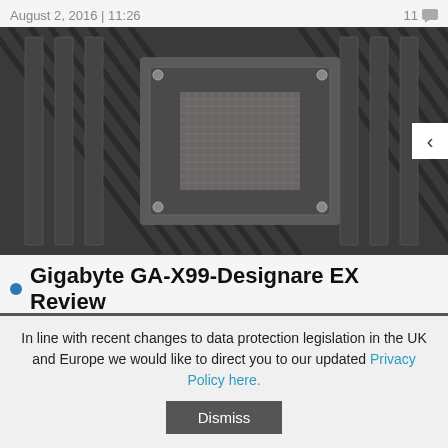August 2, 2016 | 11:26   11
[Figure (photo): Close-up photo of a motherboard CPU socket area with heatsink mounting hardware, showing the LGA socket and surrounding circuitry on what appears to be a Gigabyte GA-X99-Designare EX motherboard]
Gigabyte GA-X99-Designare EX Review
What do you get if you spend £400 on an X99 motherboard? Pretty much everything.
July 15, 2016 | 10:29   3
In line with recent changes to data protection legislation in the UK and Europe we would like to direct you to our updated Privacy Policy here.
Dismiss